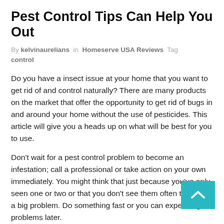Pest Control Tips Can Help You Out
By kelvinaurelians in Homeserve USA Reviews Tag control
Do you have a insect issue at your home that you want to get rid of and control naturally? There are many products on the market that offer the opportunity to get rid of bugs in and around your home without the use of pesticides. This article will give you a heads up on what will be best for you to use.
Don't wait for a pest control problem to become an infestation; call a professional or take action on your own immediately. You might think that just because you've only seen one or two or that you don't see them often there isn't a big problem. Do something fast or you can expect big problems later.
Fumigate your home on a regular basis if you have had a pest problem more than one time. Some pests are so populated in an area that it can be next to impossible to keep them out of your home. However, if you take preventative measures you are more likely to succeed.